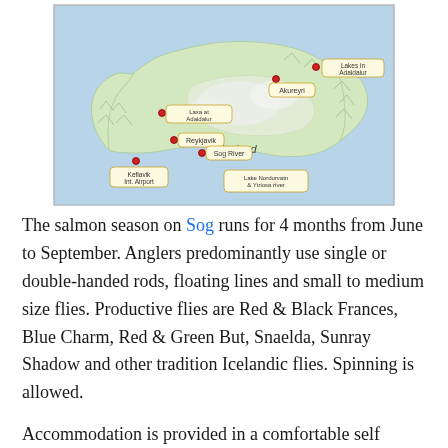[Figure (map): Map of Iceland showing locations including Akureyri, Lakes in Adaldalur, Reykjavik, Keflavik Int. Airport, Sog River, Lakes Nordurvatn & Ytriosa River, and Laxa at Adaldalur. Red dot markers indicate key fishing and location points.]
The salmon season on Sog runs for 4 months from June to September. Anglers predominantly use single or double-handed rods, floating lines and small to medium size flies. Productive flies are Red & Black Frances, Blue Charm, Red & Green But, Snaelda, Sunray Shadow and other tradition Icelandic flies. Spinning is allowed.
Accommodation is provided in a comfortable self catering lodge beside the river. The lodge has a very well equipped